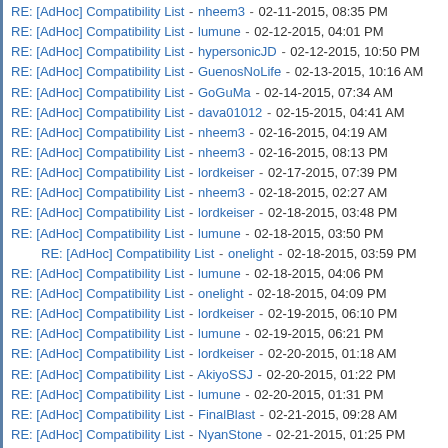RE: [AdHoc] Compatibility List - nheem3 - 02-11-2015, 08:35 PM
RE: [AdHoc] Compatibility List - lumune - 02-12-2015, 04:01 PM
RE: [AdHoc] Compatibility List - hypersonicJD - 02-12-2015, 10:50 PM
RE: [AdHoc] Compatibility List - GuenosNoLife - 02-13-2015, 10:16 AM
RE: [AdHoc] Compatibility List - GoGuMa - 02-14-2015, 07:34 AM
RE: [AdHoc] Compatibility List - dava01012 - 02-15-2015, 04:41 AM
RE: [AdHoc] Compatibility List - nheem3 - 02-16-2015, 04:19 AM
RE: [AdHoc] Compatibility List - nheem3 - 02-16-2015, 08:13 PM
RE: [AdHoc] Compatibility List - lordkeiser - 02-17-2015, 07:39 PM
RE: [AdHoc] Compatibility List - nheem3 - 02-18-2015, 02:27 AM
RE: [AdHoc] Compatibility List - lordkeiser - 02-18-2015, 03:48 PM
RE: [AdHoc] Compatibility List - lumune - 02-18-2015, 03:50 PM
RE: [AdHoc] Compatibility List - onelight - 02-18-2015, 03:59 PM (indented)
RE: [AdHoc] Compatibility List - lumune - 02-18-2015, 04:06 PM
RE: [AdHoc] Compatibility List - onelight - 02-18-2015, 04:09 PM
RE: [AdHoc] Compatibility List - lordkeiser - 02-19-2015, 06:10 PM
RE: [AdHoc] Compatibility List - lumune - 02-19-2015, 06:21 PM
RE: [AdHoc] Compatibility List - lordkeiser - 02-20-2015, 01:18 AM
RE: [AdHoc] Compatibility List - AkiyoSSJ - 02-20-2015, 01:22 PM
RE: [AdHoc] Compatibility List - lumune - 02-20-2015, 01:31 PM
RE: [AdHoc] Compatibility List - FinalBlast - 02-21-2015, 09:28 AM
RE: [AdHoc] Compatibility List - NyanStone - 02-21-2015, 01:25 PM
RE: [AdHoc] Compatibility List - paulaz2 - 02-21-2015, 06:04 PM
RE: [AdHoc] Compatibility List - lumune - 02-22-2015, 02:05 PM
RE: [AdHoc] Compatibility List - GuenosNoLife - 02-22-2015, 02:10 PM